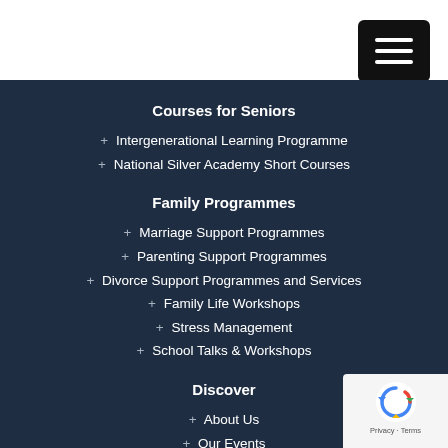[Figure (other): Hamburger menu button (three white horizontal bars on black rounded rectangle background) in top right corner]
Courses for Seniors
+ Intergenerational Learning Programme
+ National Silver Academy Short Courses
Family Programmes
+ Marriage Support Programmes
+ Parenting Support Programmes
+ Divorce Support Programmes and Services
+ Family Life Workshops
+ Stress Management
+ School Talks & Workshops
Discover
+ About Us
+ Our Events
[Figure (other): reCAPTCHA badge in bottom right corner showing recaptcha logo and Privacy - Terms text]